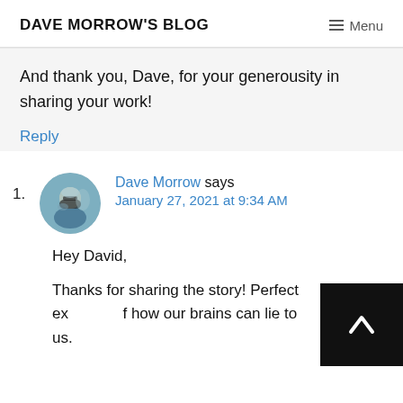DAVE MORROW'S BLOG   Menu
And thank you, Dave, for your generousity in sharing your work!
Reply
1. Dave Morrow says January 27, 2021 at 9:34 AM
Hey David,
Thanks for sharing the story! Perfect ex[ample of] how our brains can lie to us.